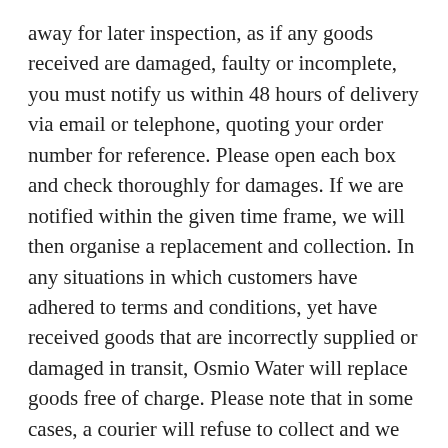away for later inspection, as if any goods received are damaged, faulty or incomplete, you must notify us within 48 hours of delivery via email or telephone, quoting your order number for reference. Please open each box and check thoroughly for damages. If we are notified within the given time frame, we will then organise a replacement and collection. In any situations in which customers have adhered to terms and conditions, yet have received goods that are incorrectly supplied or damaged in transit, Osmio Water will replace goods free of charge. Please note that in some cases, a courier will refuse to collect and we will be unable to organise a collection, for example in the case of broken glass or pottery.
Upon signing, responsibility for these products passes on to you, and any risk of damage or loss is assumed by the purchaser. We are not responsible for any goods received or unpacked by anyone other than the purchaser, so please ensure that person is present to